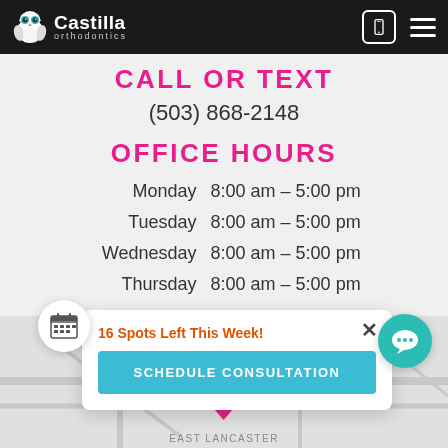Castilla orthodontics
CALL OR TEXT
(503) 868-2148
OFFICE HOURS
| Day | Hours |
| --- | --- |
| Monday | 8:00 am – 5:00 pm |
| Tuesday | 8:00 am – 5:00 pm |
| Wednesday | 8:00 am – 5:00 pm |
| Thursday | 8:00 am – 5:00 pm |
16 Spots Left This Week!
SCHEDULE CONSULTATION
[Figure (map): Map showing Salem location with pink map pin labeled 'Salem' and street label 'EAST LANCASTER']